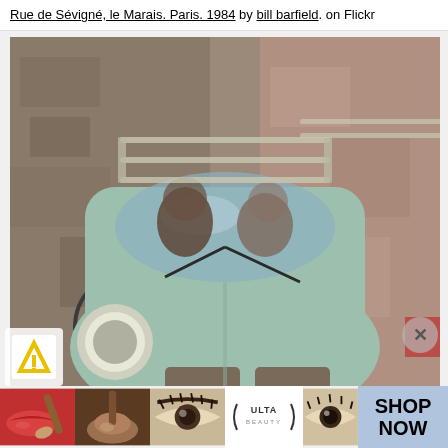Rue de Sévigné, le Marais. Paris. 1984 by bill barfield. on Flickr
[Figure (photo): Aerial/overhead view of a light mint-green vintage small car (resembling a Renault or Fiat 500 style) driving on a narrow Parisian street. The car has a roof rack and passengers visible through the windshield. A bicycle leans against a stone wall in the background. The photo is taken from above at an angle.]
[Figure (logo): Freemake or similar app logo - yellow/gold angular icon on white background, bottom left overlay]
[Figure (photo): ULTA Beauty advertisement banner showing makeup imagery: red lips with brush, beauty brush, eyes with mascara, ULTA logo, model eyes, with SHOP NOW call to action button]